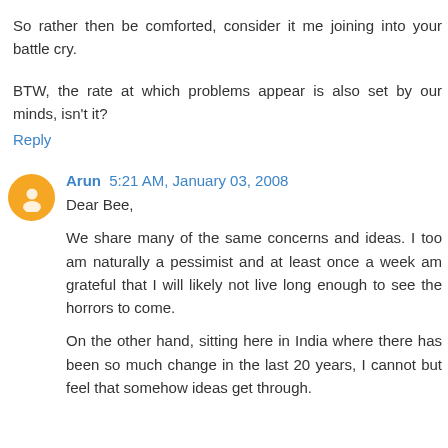So rather then be comforted, consider it me joining into your battle cry.
BTW, the rate at which problems appear is also set by our minds, isn't it?
Reply
Arun 5:21 AM, January 03, 2008
Dear Bee,
We share many of the same concerns and ideas. I too am naturally a pessimist and at least once a week am grateful that I will likely not live long enough to see the horrors to come.
On the other hand, sitting here in India where there has been so much change in the last 20 years, I cannot but feel that somehow ideas get through.